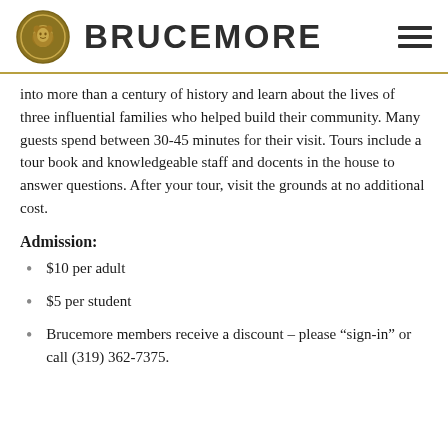BRUCEMORE
into more than a century of history and learn about the lives of three influential families who helped build their community. Many guests spend between 30-45 minutes for their visit. Tours include a tour book and knowledgeable staff and docents in the house to answer questions. After your tour, visit the grounds at no additional cost.
Admission:
$10 per adult
$5 per student
Brucemore members receive a discount – please “sign-in” or call (319) 362-7375.